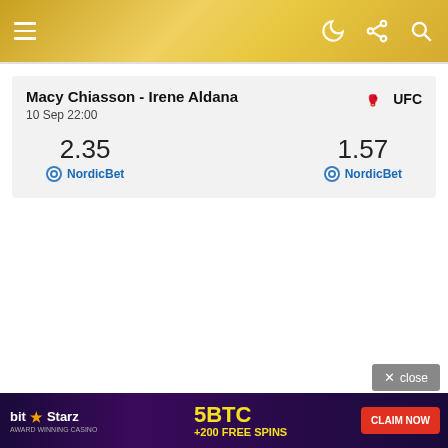Navigation header with hamburger menu and icons
Macy Chiasson - Irene Aldana
10 Sep 22:00
UFC
2.35 NordicBet
1.57 NordicBet
[Figure (screenshot): BitStarz casino advertisement banner with 5BTC +200 FREE SPINS and CLAIM NOW button]